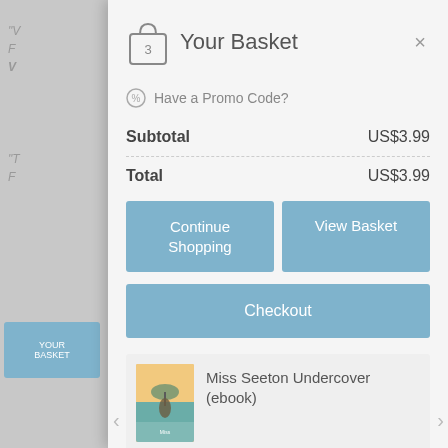Your Basket
Have a Promo Code?
|  |  |
| --- | --- |
| Subtotal | US$3.99 |
| Total | US$3.99 |
Continue Shopping
View Basket
Checkout
Miss Seeton Undercover (ebook)